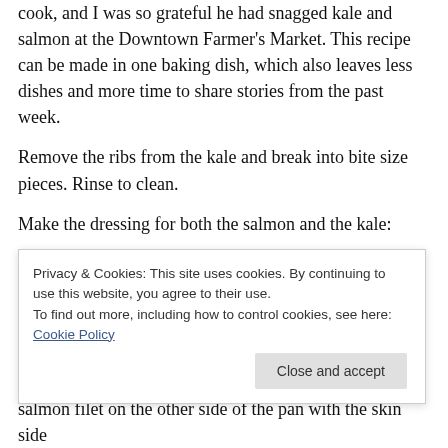cook, and I was so grateful he had snagged kale and salmon at the Downtown Farmer's Market. This recipe can be made in one baking dish, which also leaves less dishes and more time to share stories from the past week.
Remove the ribs from the kale and break into bite size pieces. Rinse to clean.
Make the dressing for both the salmon and the kale:
1/3 cup coconut oil, melted
1 teaspoon toasted sesame oil
2 tablespoons liquid aminos
Privacy & Cookies: This site uses cookies. By continuing to use this website, you agree to their use.
To find out more, including how to control cookies, see here: Cookie Policy
salmon filet on the other side of the pan with the skin side